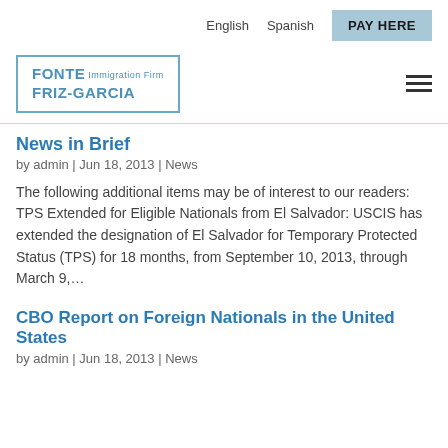English  Spanish  PAY HERE
[Figure (logo): Fonte Friz-Garcia Immigration Firm logo in a blue-bordered box]
News in Brief
by admin | Jun 18, 2013 | News
The following additional items may be of interest to our readers: TPS Extended for Eligible Nationals from El Salvador: USCIS has extended the designation of El Salvador for Temporary Protected Status (TPS) for 18 months, from September 10, 2013, through March 9,...
CBO Report on Foreign Nationals in the United States
by admin | Jun 18, 2013 | News